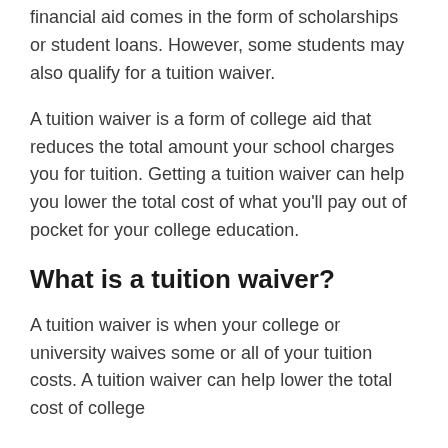financial aid comes in the form of scholarships or student loans. However, some students may also qualify for a tuition waiver.
A tuition waiver is a form of college aid that reduces the total amount your school charges you for tuition. Getting a tuition waiver can help you lower the total cost of what you'll pay out of pocket for your college education.
What is a tuition waiver?
A tuition waiver is when your college or university waives some or all of your tuition costs. A tuition waiver can help lower the total cost of college